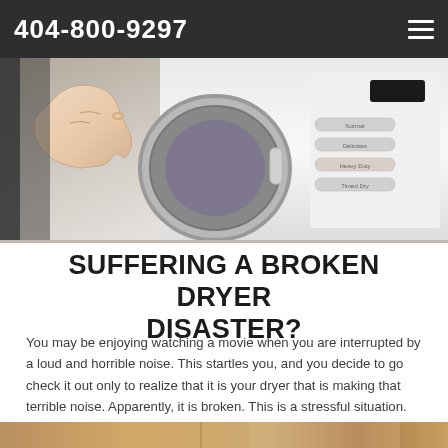404-800-9297
[Figure (photo): Close-up photo of a hand near a washing machine or dryer door with control panel buttons and digital display visible on the right]
SUFFERING A BROKEN DRYER DISASTER?
You may be enjoying watching a movie when you are interrupted by a loud and horrible noise. This startles you, and you decide to go check it out only to realize that it is your dryer that is making that terrible noise. Apparently, it is broken. This is a stressful situation.
[Figure (photo): Partial bottom image, appears to show wooden furniture or flooring in warm brown tones]